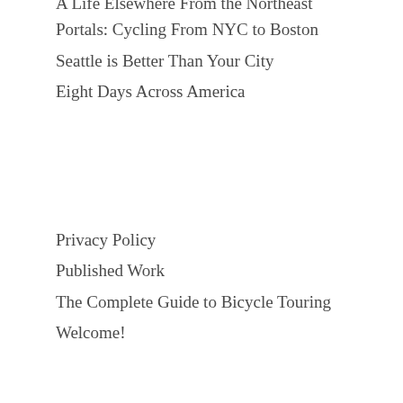Portals: Cycling From NYC to Boston
Seattle is Better Than Your City
Eight Days Across America
Privacy Policy
Published Work
The Complete Guide to Bicycle Touring
Welcome!
Powered by WordPress.com.